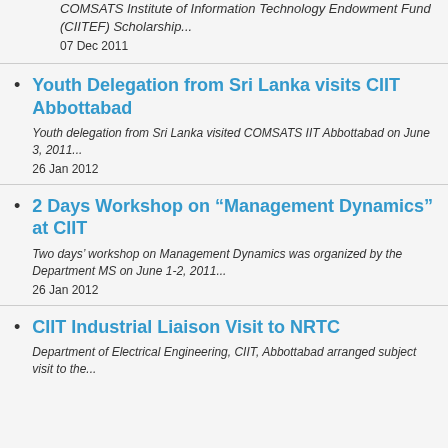COMSATS Institute of Information Technology Endowment Fund (CIITEF) Scholarship...
07 Dec 2011
Youth Delegation from Sri Lanka visits CIIT Abbottabad
Youth delegation from Sri Lanka visited COMSATS IIT Abbottabad on June 3, 2011...
26 Jan 2012
2 Days Workshop on “Management Dynamics” at CIIT
Two days’ workshop on Management Dynamics was organized by the Department MS on June 1-2, 2011...
26 Jan 2012
CIIT Industrial Liaison Visit to NRTC
Department of Electrical Engineering, CIIT, Abbottabad arranged subject visit to the...